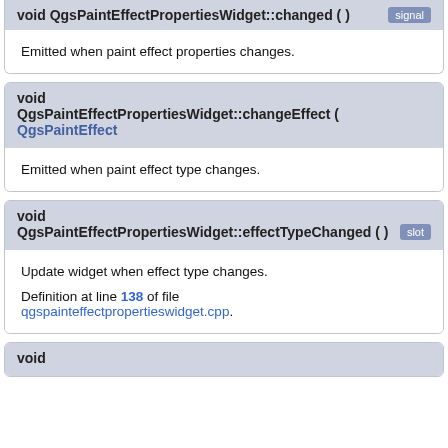void QgsPaintEffectPropertiesWidget::changed ( )
Emitted when paint effect properties changes.
void QgsPaintEffectPropertiesWidget::changeEffect ( QgsPaintEffect
Emitted when paint effect type changes.
void QgsPaintEffectPropertiesWidget::effectTypeChanged ( )
Update widget when effect type changes.

Definition at line 138 of file qgspainteffectpropertieswidget.cpp.
void